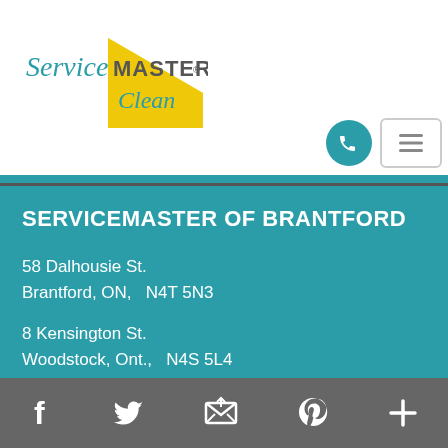[Figure (logo): ServiceMaster Clean logo with yellow triangle and teal/green text]
[Figure (other): Teal phone call button icon and hamburger menu button]
SERVICEMASTER OF BRANTFORD
58 Dalhousie St.
Brantford, ON,   N4T 5N3
8 Kensington St.
Woodstock, Ont.,   N4S 5L4
[Figure (other): Footer social media icons: Facebook, Twitter, Email, Pinterest, Plus]